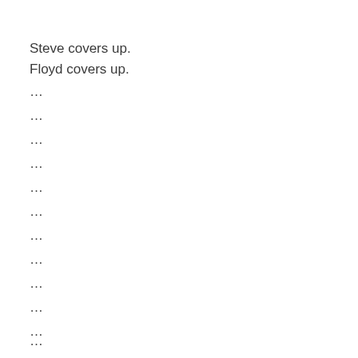Steve covers up.
Floyd covers up.
...
...
...
...
...
...
...
...
...
...
...
...
...
...